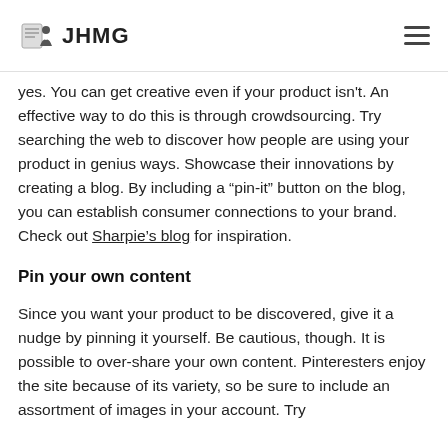JHMG
yes. You can get creative even if your product isn't. An effective way to do this is through crowdsourcing. Try searching the web to discover how people are using your product in genius ways. Showcase their innovations by creating a blog. By including a “pin-it” button on the blog, you can establish consumer connections to your brand. Check out Sharpie’s blog for inspiration.
Pin your own content
Since you want your product to be discovered, give it a nudge by pinning it yourself. Be cautious, though. It is possible to over-share your own content. Pinteresters enjoy the site because of its variety, so be sure to include an assortment of images in your account. Try